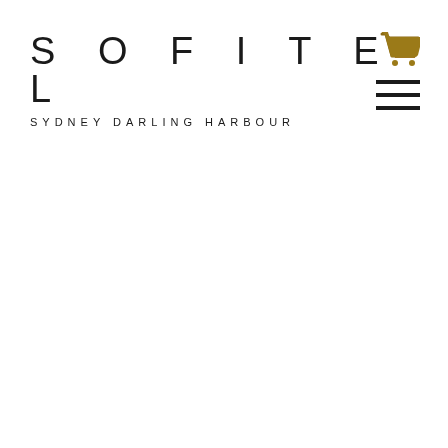[Figure (logo): Sofitel Sydney Darling Harbour hotel logo with 'SOFITEL' in spaced uppercase letters and 'SYDNEY DARLING HARBOUR' subtitle below]
[Figure (other): Shopping cart icon in golden/dark yellow color in top right corner]
[Figure (other): Hamburger menu icon with three horizontal black lines below the cart icon]